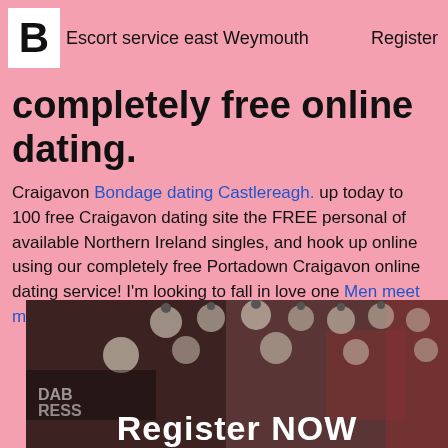LB  Escort service east Weymouth  Register
completely free online dating.
Craigavon Bondage dating Castlereagh. up today to 100 free Craigavon dating site the FREE personal of available Northern Ireland singles, and hook up online using our completely free Portadown Craigavon online dating service! I'm looking to fall in love one Men meet men Basingstoke time. South Yorkshire.
[Figure (photo): Dark photo showing string lights or bulbs on a wall, with 'Register NOW' text overlaid at the bottom in white bold letters, and partial text 'DAB RESS' visible]